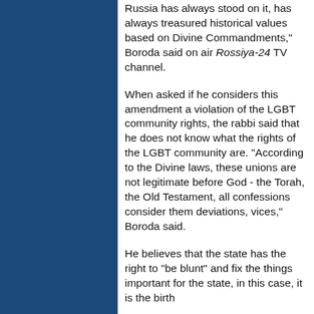Russia has always stood on it, has always treasured historical values based on Divine Commandments," Boroda said on air Rossiya-24 TV channel.
When asked if he considers this amendment a violation of the LGBT community rights, the rabbi said that he does not know what the rights of the LGBT community are. "According to the Divine laws, these unions are not legitimate before God - the Torah, the Old Testament, all confessions consider them deviations, vices," Boroda said.
He believes that the state has the right to "be blunt" and fix the things important for the state, in this case, it is the birth